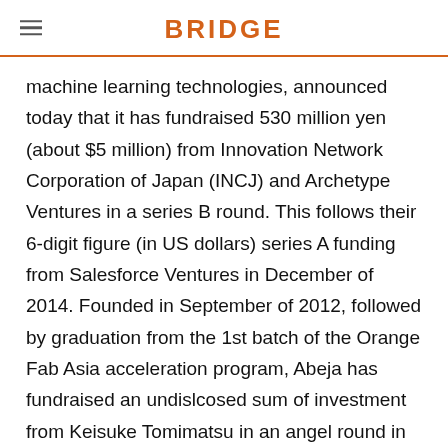BRIDGE
machine learning technologies, announced today that it has fundraised 530 million yen (about $5 million) from Innovation Network Corporation of Japan (INCJ) and Archetype Ventures in a series B round. This follows their 6-digit figure (in US dollars) series A funding from Salesforce Ventures in December of 2014. Founded in September of 2012, followed by graduation from the 1st batch of the Orange Fab Asia acceleration program, Abeja has fundraised an undislcosed sum of investment from Keisuke Tomimatsu in an angel round in addition to Archetype, Inspire, Mitsbishi UFJ Capital, Mizuho Capital, NTT Docomo Ventures and Sakura Internet in a seed round. Abeja offers a suite of data analytics